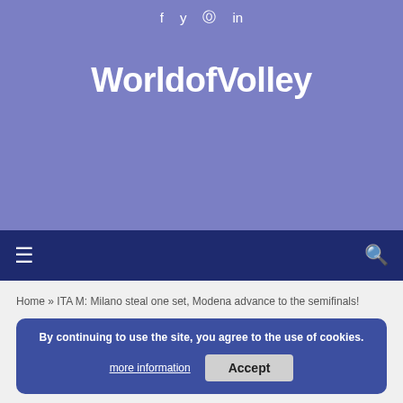f  y  ⊙  in
WorldofVolley
≡   🔍
Home » ITA M: Milano steal one set, Modena advance to the semifinals!
By continuing to use the site, you agree to the use of cookies. more information  Accept
ITALY
ITA M: Milano steal one set, Modena advance to the semifinals!